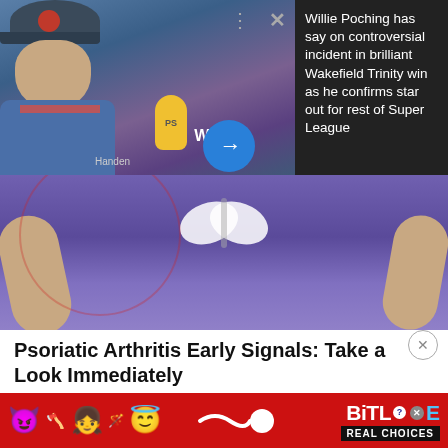[Figure (screenshot): News article thumbnail showing a man being interviewed with a microphone, wearing a blue sports jersey and cap]
Willie Poching has say on controversial incident in brilliant Wakefield Trinity win as he confirms star out for rest of Super League
[Figure (photo): Person wearing a purple/blue athletic bodysuit, close-up of torso and legs]
Psoriatic Arthritis Early Signals: Take a Look Immediately
Psoriatic Arthritis | Sponsore
[Figure (illustration): Advertisement banner for BitLife game with emojis and text REAL CHOICES]